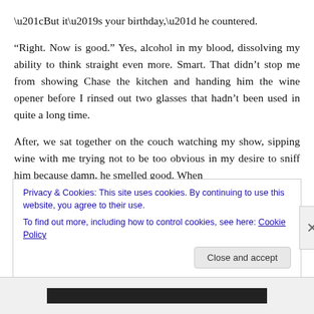“But it’s your birthday,” he countered.
“Right. Now is good.” Yes, alcohol in my blood, dissolving my ability to think straight even more. Smart. That didn’t stop me from showing Chase the kitchen and handing him the wine opener before I rinsed out two glasses that hadn’t been used in quite a long time.
After, we sat together on the couch watching my show, sipping wine with me trying not to be too obvious in my desire to sniff him because damn, he smelled good. When
Privacy & Cookies: This site uses cookies. By continuing to use this website, you agree to their use.
To find out more, including how to control cookies, see here: Cookie Policy
Close and accept